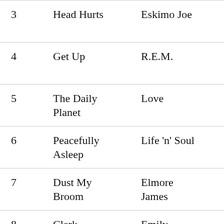| 3 | Head Hurts | Eskimo Joe | deanofromoz |
| 4 | Get Up | R.E.M. | SweetHomeAlabama |
| 5 | The Daily Planet | Love | TarquinSpodd |
| 6 | Peacefully Asleep | Life 'n' Soul | Beltway Bandit |
| 7 | Dust My Broom | Elmore James | Tempusfugit |
| 8 | Clerk Saunders | Emily Smith | treefrogdemon |